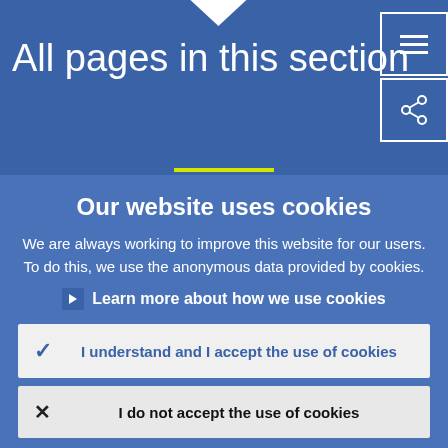All pages in this section
Our website uses cookies
We are always working to improve this website for our users. To do this, we use the anonymous data provided by cookies.
Learn more about how we use cookies
I understand and I accept the use of cookies
I do not accept the use of cookies